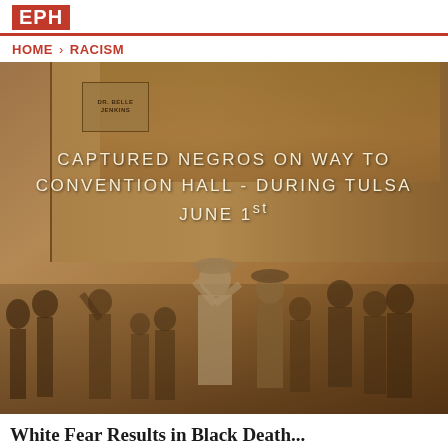EPH
HOME › RACISM
[Figure (photo): Sepia-toned historical photograph showing a crowd of people, some with hands raised, walking on a street in front of a brick building. Handwritten text overlaid on the photo reads: 'CAPTURED NEGROS ON WAY TO CONVENTION HALL - DURING TULSA JUNE 1st'. This is a historical image from the 1921 Tulsa Race Massacre.]
White Fear Results in Black Death...